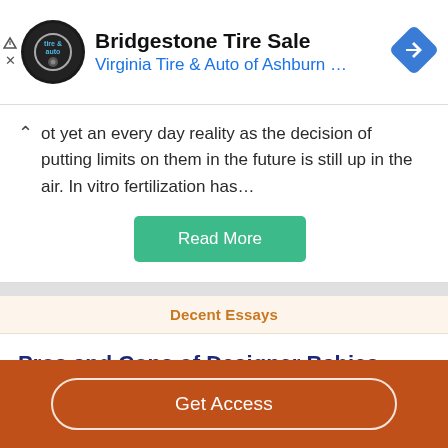[Figure (logo): Bridgestone Tire Sale advertisement banner with Virginia Tire & Auto of Ashburn logo and navigation icon]
ot yet an every day reality as the decision of putting limits on them in the future is still up in the air. In vitro fertilization has…
Read More
Decent Essays
Pros and Cons of Designer Babies
Get Access